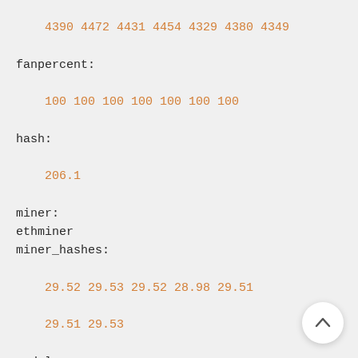4390 4472 4431 4454 4329 4380 4349
fanpercent:
100 100 100 100 100 100 100
hash:
206.1
miner:
ethminer
miner_hashes:
29.52 29.53 29.52 28.98 29.51 29.51 29.53
models:
01 Ellesmere RX 580 xxx-xxx-xxxx Micron
02 Ellesmere RX 580 xxx-xxx-xxxx Micron
03 Ellesmere RX 580 xxx-xxx-xxxx Micron
05 Ellesmere RX 580 xxx-xxx-xxx Samsung